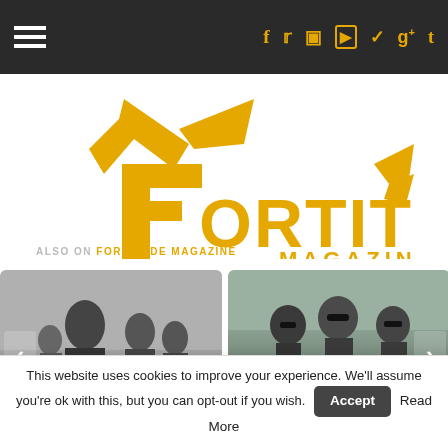Navigation bar with hamburger menu and social icons (f, twitter, instagram, youtube, pinterest, g+, tumblr)
[Figure (logo): Fortitude Magazine logo in orange with wing/bird motif above text FORTITUDE MAGAZINE]
ALSO ON FORTITUDE MAGAZINE
[Figure (photo): Black and white photo of a band (The Smiths era style), with overlay text: ages ago · 2 comments, Fortitude Suggests: The bands that we ...]
[Figure (photo): Color photo of a band with sunglasses outdoors, with overlay text: 6 years ago · 1 comment, Launchbox: She Crazy - Fortitude Magazine]
This website uses cookies to improve your experience. We'll assume you're ok with this, but you can opt-out if you wish. Accept Read More